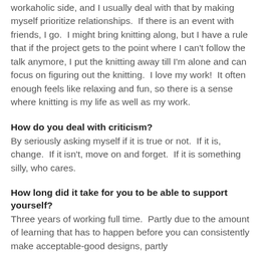workaholic side, and I usually deal with that by making myself prioritize relationships.  If there is an event with friends, I go.  I might bring knitting along, but I have a rule that if the project gets to the point where I can't follow the talk anymore, I put the knitting away till I'm alone and can focus on figuring out the knitting.  I love my work!  It often enough feels like relaxing and fun, so there is a sense where knitting is my life as well as my work.
How do you deal with criticism?
By seriously asking myself if it is true or not.  If it is, change.  If it isn't, move on and forget.  If it is something silly, who cares.
How long did it take for you to be able to support yourself?
Three years of working full time.  Partly due to the amount of learning that has to happen before you can consistently make acceptable-good designs, partly